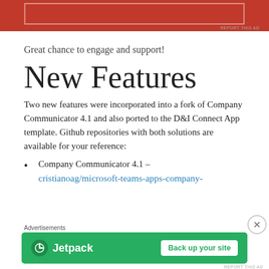[Figure (other): Red advertisement banner at top of page with white border outline]
REPORT THIS AD
Great chance to engage and support!
New Features
Two new features were incorporated into a fork of Company Communicator 4.1 and also ported to the D&I Connect App template. Github repositories with both solutions are available for your reference:
Company Communicator 4.1 – cristianoag/microsoft-teams-apps-company-
Advertisements
[Figure (other): Jetpack advertisement banner: green background with Jetpack logo and 'Back up your site' button]